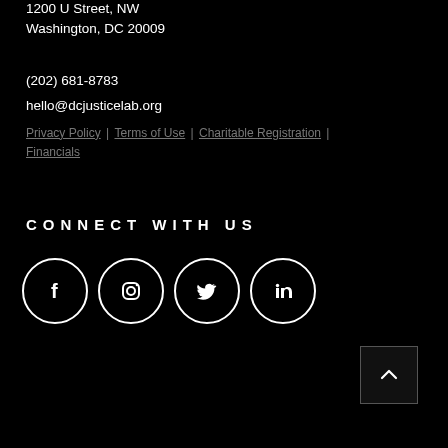1200 U Street, NW
Washington, DC 20009
(202) 681-8783
hello@dcjusticelab.org
Privacy Policy | Terms of Use | Charitable Registration | Financials
CONNECT WITH US
[Figure (other): Social media icon buttons: Facebook, Instagram, Twitter, LinkedIn — white circle outlines on black background]
[Figure (other): Back to top button — square outline with upward chevron arrow]